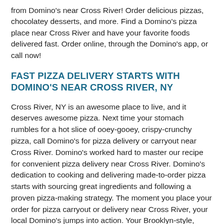from Domino's near Cross River! Order delicious pizzas, chocolatey desserts, and more. Find a Domino's pizza place near Cross River and have your favorite foods delivered fast. Order online, through the Domino's app, or call now!
FAST PIZZA DELIVERY STARTS WITH DOMINO'S NEAR CROSS RIVER, NY
Cross River, NY is an awesome place to live, and it deserves awesome pizza. Next time your stomach rumbles for a hot slice of ooey-gooey, crispy-crunchy pizza, call Domino's for pizza delivery or carryout near Cross River. Domino's worked hard to master our recipe for convenient pizza delivery near Cross River. Domino's dedication to cooking and delivering made-to-order pizza starts with sourcing great ingredients and following a proven pizza-making strategy. The moment you place your order for pizza carryout or delivery near Cross River, your local Domino's jumps into action. Your Brooklyn-style, hand-tossed, crunchy thin crust, or gluten-free crust pizza dough is prepared and doused in a sauce of your choosing. You can stick to a familiar flavor with an authentic marinara or spice things up with garlic parmesan white sauce, Alfredo sauce, or barbecue sauce!